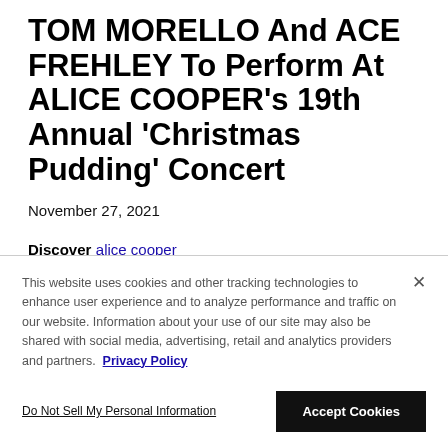TOM MORELLO And ACE FREHLEY To Perform At ALICE COOPER's 19th Annual 'Christmas Pudding' Concert
November 27, 2021
Discover alice cooper
This website uses cookies and other tracking technologies to enhance user experience and to analyze performance and traffic on our website. Information about your use of our site may also be shared with social media, advertising, retail and analytics providers and partners. Privacy Policy
Do Not Sell My Personal Information   Accept Cookies